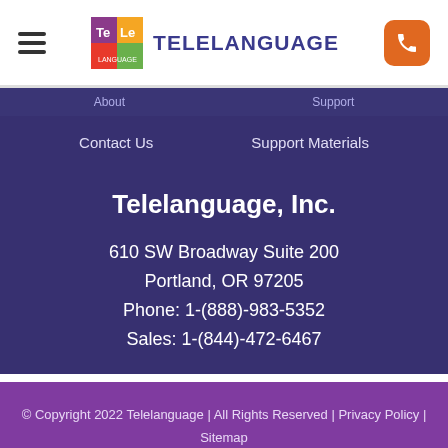TELELANGUAGE
Contact Us   Support Materials
Telelanguage, Inc.
610 SW Broadway Suite 200
Portland, OR 97205
Phone: 1-(888)-983-5352
Sales: 1-(844)-472-6467
© Copyright 2022 Telelanguage | All Rights Reserved | Privacy Policy | Sitemap